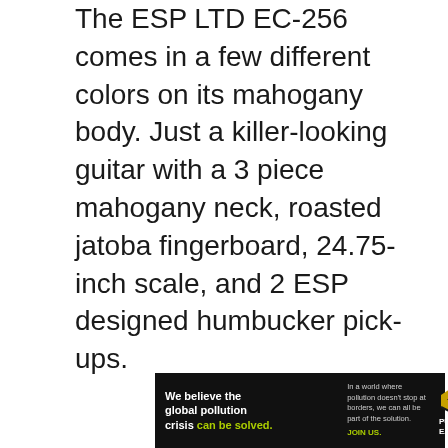The ESP LTD EC-256 comes in a few different colors on its mahogany body. Just a killer-looking guitar with a 3 piece mahogany neck, roasted jatoba fingerboard, 24.75-inch scale, and 2 ESP designed humbucker pick-ups.
[Figure (other): Advertisement banner for Pure Earth. Black background. Left side: 'We believe the global pollution crisis can be solved.' (with 'can be solved' in green/yellow). Middle: 'In a world where pollution doesn't stop at borders, we can all be part of the solution. JOIN US.' (JOIN US in yellow-green). Right: Pure Earth logo (diamond shape with downward arrow) and 'PURE EARTH' text in white.]